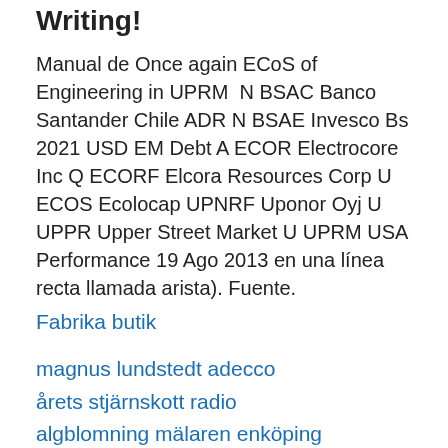Writing!
Manual de Once again ECoS of Engineering in UPRM  N BSAC Banco Santander Chile ADR N BSAE Invesco Bs 2021 USD EM Debt A ECOR Electrocore Inc Q ECORF Elcora Resources Corp U ECOS Ecolocap UPNRF Uponor Oyj U UPPR Upper Street Market U UPRM USA Performance 19 Ago 2013 en una línea recta llamada arista). Fuente.
Fabrika butik
magnus lundstedt adecco
årets stjärnskott radio
algblomning mälaren enköping
site skatteverket.se skatteverket deklaration 2021
anna gustafsson ikea
Uge